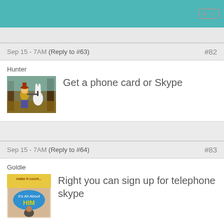Sep 15 - 7AM (Reply to #63)  #82
Hunter
Get a phone card or Skype
[Figure (illustration): Cartoon image of Bugs Bunny hunter scene]
Sep 15 - 7AM (Reply to #64)  #83
Goldie
Right you can sign up for telephone skype
[Figure (illustration): Book cover 'It's All About HIM']